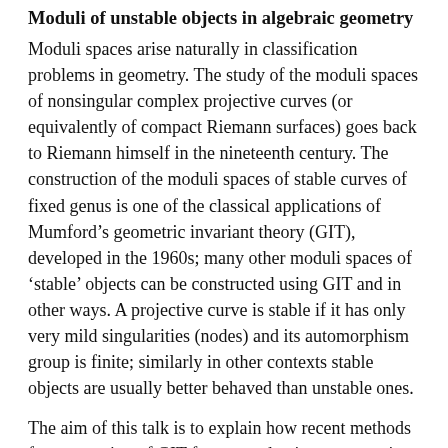Moduli of unstable objects in algebraic geometry
Moduli spaces arise naturally in classification problems in geometry. The study of the moduli spaces of nonsingular complex projective curves (or equivalently of compact Riemann surfaces) goes back to Riemann himself in the nineteenth century. The construction of the moduli spaces of stable curves of fixed genus is one of the classical applications of Mumford’s geometric invariant theory (GIT), developed in the 1960s; many other moduli spaces of ‘stable’ objects can be constructed using GIT and in other ways. A projective curve is stable if it has only very mild singularities (nodes) and its automorphism group is finite; similarly in other contexts stable objects are usually better behaved than unstable ones.
The aim of this talk is to explain how recent methods from a version of GIT for non-reductive group actions can help us to classify singular curves in such a way that we can construct moduli spaces of unstable curves (of fixed type).